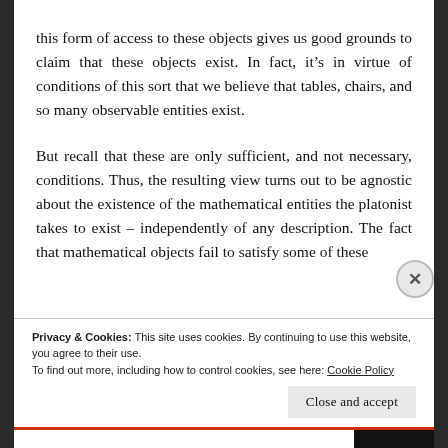this form of access to these objects gives us good grounds to claim that these objects exist. In fact, it's in virtue of conditions of this sort that we believe that tables, chairs, and so many observable entities exist.
But recall that these are only sufficient, and not necessary, conditions. Thus, the resulting view turns out to be agnostic about the existence of the mathematical entities the platonist takes to exist – independently of any description. The fact that mathematical objects fail to satisfy some of these
Privacy & Cookies: This site uses cookies. By continuing to use this website, you agree to their use.
To find out more, including how to control cookies, see here: Cookie Policy